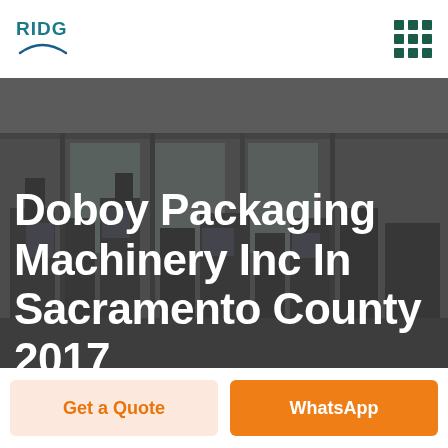RIDGE
[Figure (photo): Industrial packaging machinery in a warehouse/factory setting, dark overlay]
Doboy Packaging Machinery Inc In Sacramento County 2017
Get a Quote
WhatsApp